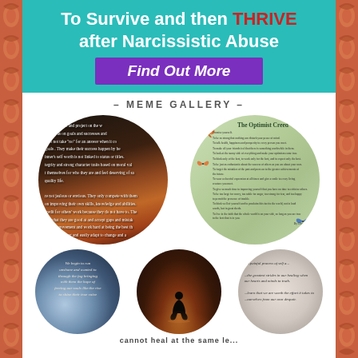To Survive and then THRIVE after Narcissistic Abuse
Find Out More
- MEME GALLERY -
[Figure (illustration): Circular meme with dark sunset background and text about confident people who focus on goals, do not take no for an answer, make success happen, self worth not linked to status or titles, integrity and strong character traits, not jealous or envious, work on improving skills, embrace learning and adapt to change.]
[Figure (illustration): Circular meme with light green background showing 'The Optimist Creed' text by Christian D. Larson with butterfly decorations around the circle.]
[Figure (illustration): Circular meme with blue sunrise/foggy background and italic text about beginning to run, awaken and wanted to, through the fog bringing with them the hope of freeing our souls like the rise to shine their true voice.]
[Figure (photo): Circular meme with dark warm tones showing a silhouette of a person kneeling/praying against a sunset.]
[Figure (illustration): Circular meme with light grey/beige background and text about a painful process of self, greatest strides in healing when our hearts and minds to truth, learn that we are worth the effort it takes to free ourselves from our own despair.]
cannot heal at the same le...